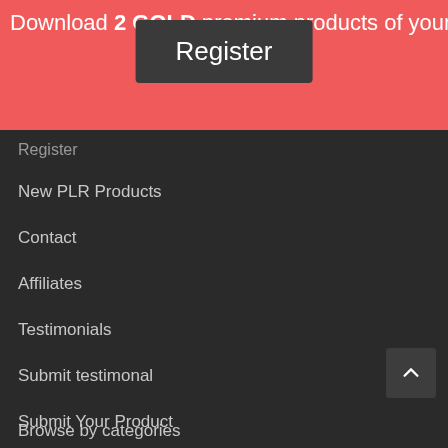Download 2 GOLD premium products of your choice for FREE
Register
Register
New PLR Products
Contact
Affiliates
Testimonials
Submit testimonal
Submit Your Product
Request PLR Products
Work For Us
Browse by categories